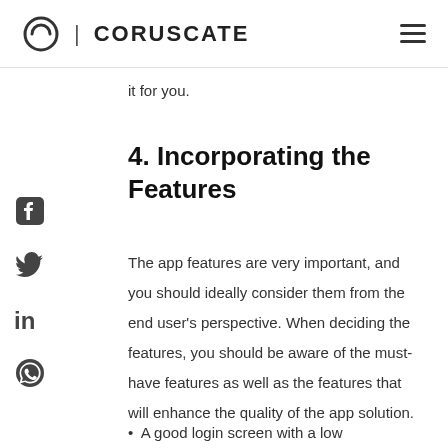CORUSCATE
it for you.
4. Incorporating the Features
The app features are very important, and you should ideally consider them from the end user's perspective. When deciding the features, you should be aware of the must-have features as well as the features that will enhance the quality of the app solution.
A good login screen with a low